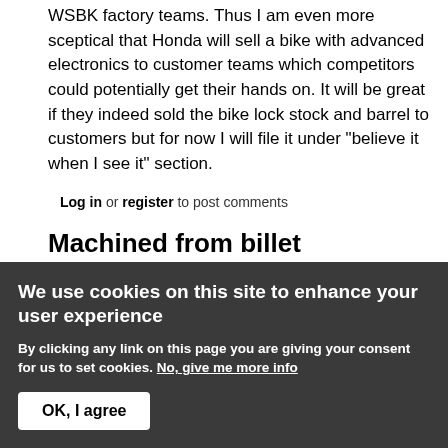WSBK factory teams. Thus I am even more sceptical that Honda will sell a bike with advanced electronics to customer teams which competitors could potentially get their hands on. It will be great if they indeed sold the bike lock stock and barrel to customers but for now I will file it under "believe it when I see it" section.
Log in or register to post comments
Machined from billet
rick650 replied on Thu, 2012-06-21 00:57
[Figure (other): Site Supporter badge — dark background with orange star and italic text]
looking at the website for the RCV213 I noticed that
We use cookies on this site to enhance your user experience
By clicking any link on this page you are giving your consent for us to set cookies. No, give me more info
OK, I agree